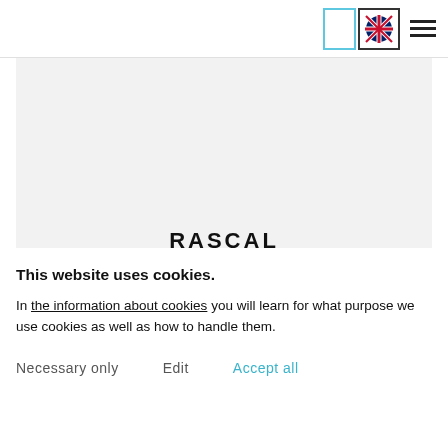[Figure (screenshot): Navigation bar with language selector buttons (outline box and UK flag icon) and hamburger menu icon on the right side]
[Figure (photo): Hero image area, light grey placeholder rectangle]
RASCAL
This website uses cookies.
In the information about cookies you will learn for what purpose we use cookies as well as how to handle them.
Necessary only   Edit   Accept all